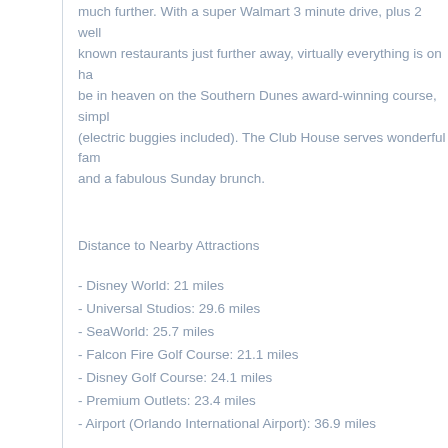much further. With a super Walmart 3 minute drive, plus 2 well known restaurants just further away, virtually everything is on ha be in heaven on the Southern Dunes award-winning course, simpl (electric buggies included). The Club House serves wonderful fam and a fabulous Sunday brunch.
Distance to Nearby Attractions
- Disney World: 21 miles
- Universal Studios: 29.6 miles
- SeaWorld: 25.7 miles
- Falcon Fire Golf Course: 21.1 miles
- Disney Golf Course: 24.1 miles
- Premium Outlets: 23.4 miles
- Airport (Orlando International Airport): 36.9 miles
Services Dunes Property Management Offers:
- Self-check-in & Self-check-out: contactless system
- Mid-stay housekeeping
- Pool heat (where available at extra cost): please note that it need